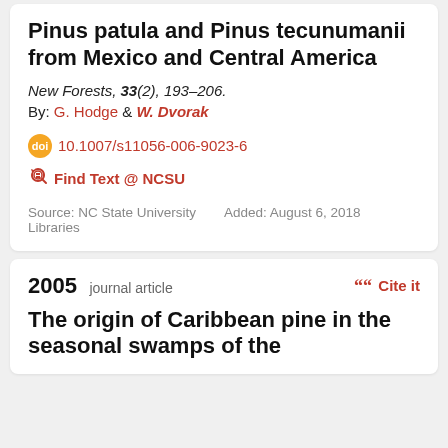Pinus patula and Pinus tecunumanii from Mexico and Central America
New Forests, 33(2), 193–206.
By: G. Hodge & W. Dvorak
10.1007/s11056-006-9023-6
Find Text @ NCSU
Source: NC State University Libraries   Added: August 6, 2018
2005 journal article
The origin of Caribbean pine in the seasonal swamps of the